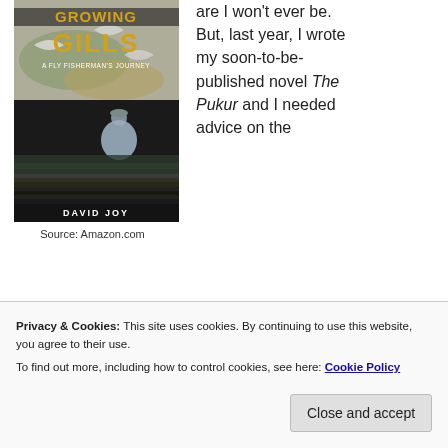[Figure (photo): Book cover of 'Growing Gills: A Fly Fisherman's Journey' by David Joy, showing a fisherman sitting by water with stylized fish imagery, gold and dark tones. Published author name at bottom.]
Source: Amazon.com
are I won't ever be. But, last year, I wrote my soon-to-be-published novel The Pukur and I needed advice on the
Privacy & Cookies: This site uses cookies. By continuing to use this website, you agree to their use.
To find out more, including how to control cookies, see here: Cookie Policy
Close and accept